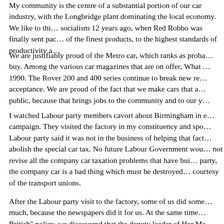My community is the centre of a substantial portion of our car industry, with the Longbridge plant dominating the local economy. We like to think that, since the end of socialism 12 years ago, when Red Robbo was finally sent packing, we have made some of the finest products, to the highest standards of productivity a
We are justifiably proud of the Metro car, which ranks as probably the best small car buy. Among the various car magazines that are on offer, What Car ranked it best buy for 1990. The Rover 200 and 400 series continue to break new records in terms of public acceptance. We are proud of the fact that we make cars that are bought by the general public, because that brings jobs to the community and to our y
I watched Labour party members cavort about Birmingham in electioneering campaign. They visited the factory in my constituency and spo Labour party said it was not in the business of helping that fact abolish the special car tax. No future Labour Government wou not revise all the company car taxation problems that have bui party, the company car is a bad thing which must be destroyed courtesy of the transport unions.
After the Labour party visit to the factory, some of us did some much, because the newspapers did it for us. At the same time British" policy, we discovered that the deputy leader of Her Ma